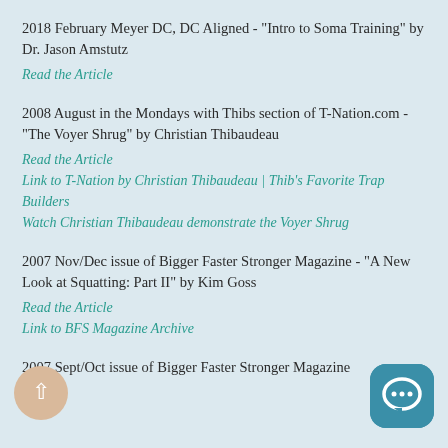2018 February Meyer DC, DC Aligned - "Intro to Soma Training" by Dr. Jason Amstutz
Read the Article
2008 August in the Mondays with Thibs section of T-Nation.com - "The Voyer Shrug" by Christian Thibaudeau
Read the Article
Link to T-Nation by Christian Thibaudeau | Thib's Favorite Trap Builders
Watch Christian Thibaudeau demonstrate the Voyer Shrug
2007 Nov/Dec issue of Bigger Faster Stronger Magazine - "A New Look at Squatting: Part II" by Kim Goss
Read the Article
Link to BFS Magazine Archive
2007 Sept/Oct issue of Bigger Faster Stronger Magazine